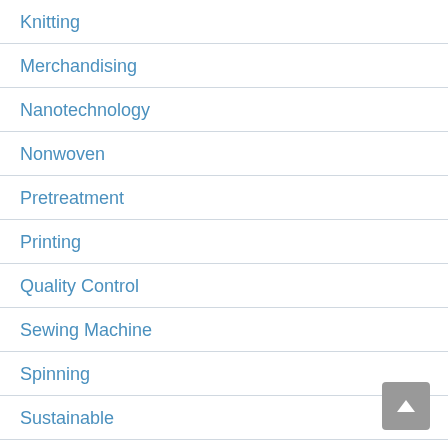Knitting
Merchandising
Nanotechnology
Nonwoven
Pretreatment
Printing
Quality Control
Sewing Machine
Spinning
Sustainable
Technical Textile